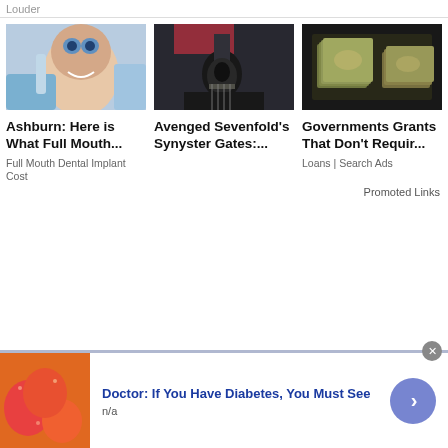Louder
[Figure (photo): Young woman smiling at dental office with dental instruments]
[Figure (photo): Avenged Sevenfold guitarist Synyster Gates performing on stage in black leather jacket]
[Figure (photo): Stacks of US dollar bills from above]
Ashburn: Here is What Full Mouth...
Full Mouth Dental Implant Cost
Avenged Sevenfold's Synyster Gates:...
Governments Grants That Don't Requir...
Loans | Search Ads
Promoted Links
[Figure (photo): Orange and red gummy candy pieces]
Doctor: If You Have Diabetes, You Must See
n/a